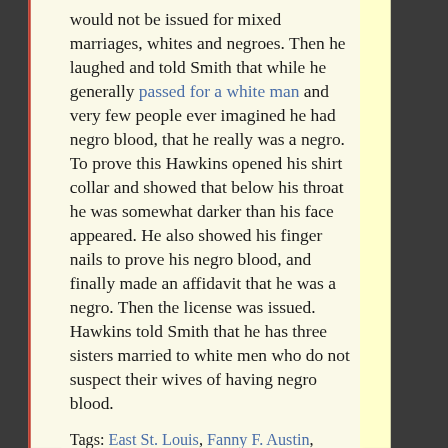would not be issued for mixed marriages, whites and negroes. Then he laughed and told Smith that while he generally passed for a white man and very few people ever imagined he had negro blood, that he really was a negro. To prove this Hawkins opened his shirt collar and showed that below his throat he was somewhat darker than his face appeared. He also showed his finger nails to prove his negro blood, and finally made an affidavit that he was a negro. Then the license was issued. Hawkins told Smith that he has three sisters married to white men who do not suspect their wives of having negro blood.
Tags: East St. Louis, Fanny F. Austin, Illinois, Leon G. Smith, San Francisco Call, The San Francisco Call, William Hawkins
Comments Off